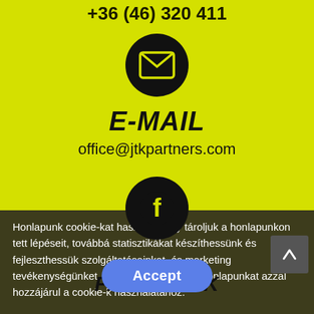+36 (46) 320 411
[Figure (illustration): Black circle with white envelope/mail icon]
E-MAIL
office@jtkpartners.com
[Figure (illustration): Black circle with Facebook logo icon]
FACEBOOK
Honlapunk cookie-kat használ, hogy tároljuk a honlapunkon tett lépéseit, továbbá statisztikákat készíthessünk és fejleszthessük szolgáltatásainkat, és marketing tevékenységünket. Ha tovább használja honlapunkat azzal hozzájárul a cookie-k használatához.
Accept